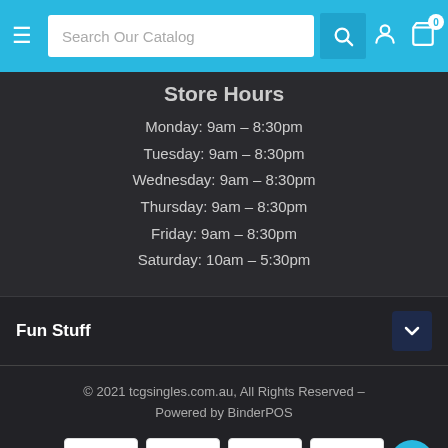Search Our Catalog
Store Hours
Monday: 9am - 8:30pm
Tuesday: 9am - 8:30pm
Wednesday: 9am - 8:30pm
Thursday: 9am - 8:30pm
Friday: 9am - 8:30pm
Saturday: 10am - 5:30pm
Fun Stuff
© 2021 tcgsingles.com.au, All Rights Reserved - Powered by BinderPOS
[Figure (logo): Payment method logos: VISA, PayPal, MasterCard, Zip]